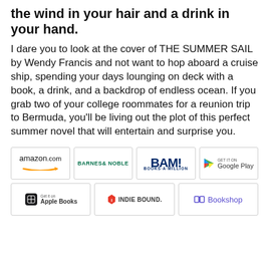the wind in your hair and a drink in your hand.
I dare you to look at the cover of THE SUMMER SAIL by Wendy Francis and not want to hop aboard a cruise ship, spending your days lounging on deck with a book, a drink, and a backdrop of endless ocean. If you grab two of your college roommates for a reunion trip to Bermuda, you'll be living out the plot of this perfect summer novel that will entertain and surprise you.
[Figure (logo): Retailer logos grid: amazon.com, Barnes & Noble, BAM! Books-A-Million, Google Play (top row); Apple Books, IndieBound, Bookshop (bottom row)]